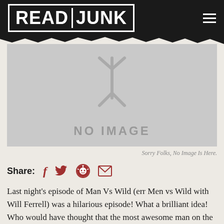READ JUNK
[Figure (other): No image placeholder with a stick-figure tree icon and 'NO IMAGE' text on a grey background]
Sorry Folks, No Image Is Here.
Share:
Last night's episode of Man Vs Wild (err Men vs Wild with Will Ferrell) was a hilarious episode! What a brilliant idea! Who would have thought that the most awesome man on the